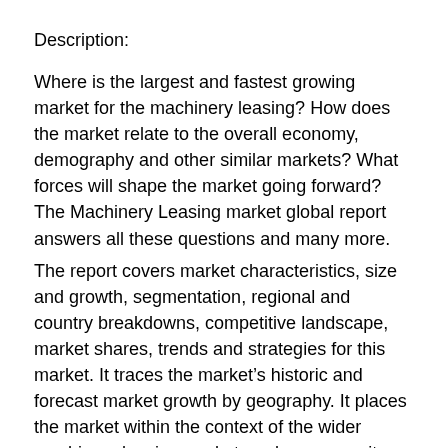Description:
Where is the largest and fastest growing market for the machinery leasing? How does the market relate to the overall economy, demography and other similar markets? What forces will shape the market going forward? The Machinery Leasing market global report answers all these questions and many more.
The report covers market characteristics, size and growth, segmentation, regional and country breakdowns, competitive landscape, market shares, trends and strategies for this market. It traces the market’s historic and forecast market growth by geography. It places the market within the context of the wider machinery leasing market, and compares it with other markets.
• The market characteristics section of the report defines and explains the market.
• The market size section gives the market size ($b)